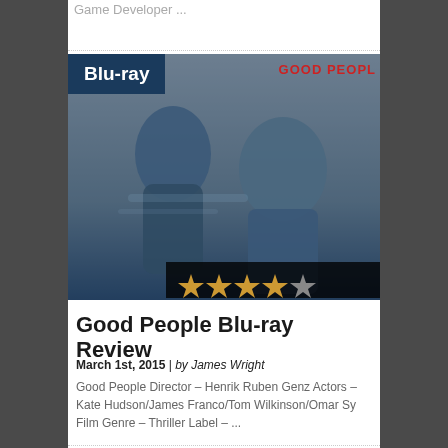Game Developer ...
[Figure (photo): Movie promotional image for 'Good People' Blu-ray showing two actors running, with a Blu-ray badge overlay, 'GOOD PEOPLE' title text in red, and a 4-star rating bar at the bottom]
Good People Blu-ray Review
March 1st, 2015 | by James Wright
Good People Director – Henrik Ruben Genz Actors – Kate Hudson/James Franco/Tom Wilkinson/Omar Sy Film Genre – Thriller Label – ...